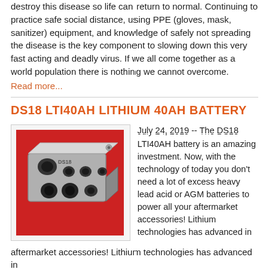destroy this disease so life can return to normal. Continuing to practice safe social distance, using PPE (gloves, mask, sanitizer) equipment, and knowledge of safely not spreading the disease is the key component to slowing down this very fast acting and deadly virus. If we all come together as a world population there is nothing we cannot overcome.
Read more...
DS18 LTI40AH LITHIUM 40AH BATTERY
[Figure (photo): Photo of a DS18 LTI40AH lithium battery terminal block, metallic silver with multiple threaded holes, on a red background.]
July 24, 2019 -- The DS18 LTI40AH battery is an amazing investment. Now, with the technology of today you don't need a lot of excess heavy lead acid or AGM batteries to power all your aftermarket accessories! Lithium technologies has advanced in
aftermarket accessories! Lithium technologies has advanced in